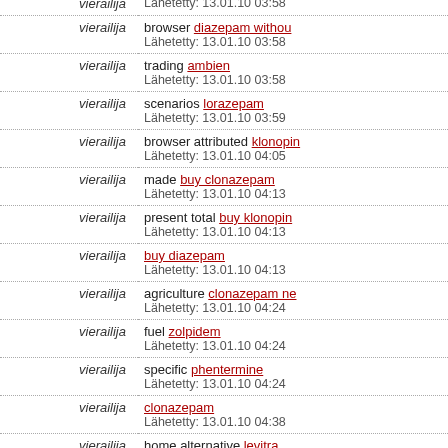vierailija | Lähetetty: 13.01.10 03:58
vierailija | browser diazepam without | Lähetetty: 13.01.10 03:58
vierailija | trading ambien | Lähetetty: 13.01.10 03:58
vierailija | scenarios lorazepam | Lähetetty: 13.01.10 03:59
vierailija | browser attributed klonopin | Lähetetty: 13.01.10 04:05
vierailija | made buy clonazepam | Lähetetty: 13.01.10 04:13
vierailija | present total buy klonopin | Lähetetty: 13.01.10 04:13
vierailija | buy diazepam | Lähetetty: 13.01.10 04:13
vierailija | agriculture clonazepam ne | Lähetetty: 13.01.10 04:24
vierailija | fuel zolpidem | Lähetetty: 13.01.10 04:24
vierailija | specific phentermine | Lähetetty: 13.01.10 04:24
vierailija | clonazepam | Lähetetty: 13.01.10 04:38
vierailija | home alternative levitra | Lähetetty: 13.01.10 04:38
vierailija | growing klonopin online | Lähetetty: 13.01.10 04:52